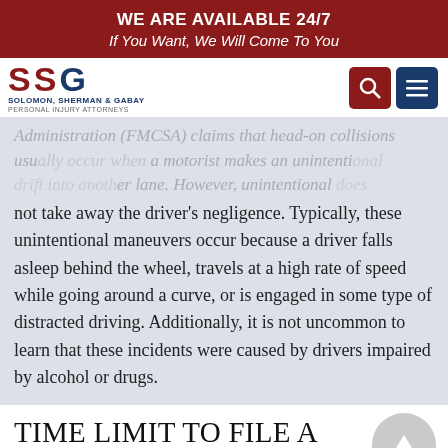WE ARE AVAILABLE 24/7
If You Want, We Will Come To You
[Figure (logo): SSG Solomon, Sherman & Gabay Personal Injury Attorneys logo with navigation search and menu icons]
Administration (FMCSA) claims that head-on collisions usually occur when a motorist makes an unintentional drift into another lane. However, unintentional does not take away the driver's negligence. Typically, these unintentional maneuvers occur because a driver falls asleep behind the wheel, travels at a high rate of speed while going around a curve, or is engaged in some type of distracted driving. Additionally, it is not uncommon to learn that these incidents were caused by drivers impaired by alcohol or drugs.
TIME LIMIT TO FILE A HEAD-ON ACCIDENT LAWSUIT IN PHILADELPHIA